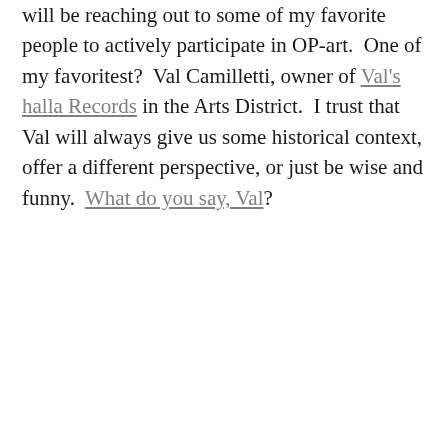will be reaching out to some of my favorite people to actively participate in OP-art.  One of my favoritest?  Val Camilletti, owner of Val's halla Records in the Arts District.  I trust that Val will always give us some historical context, offer a different perspective, or just be wise and funny.  What do you say, Val?